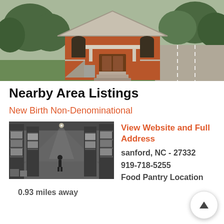[Figure (photo): Exterior photo of a small red brick church building with a peaked roof, front porch with columns, steps, and surrounding green trees and landscaping. Parking lot visible on the right.]
Nearby Area Listings
New Birth Non-Denominational
[Figure (photo): Black and white interior photo of a warehouse with tall shelving racks loaded with boxes and supplies, a lone figure walking in the aisle.]
View Website and Full Address
sanford, NC - 27332
919-718-5255
Food Pantry Location
0.93 miles away